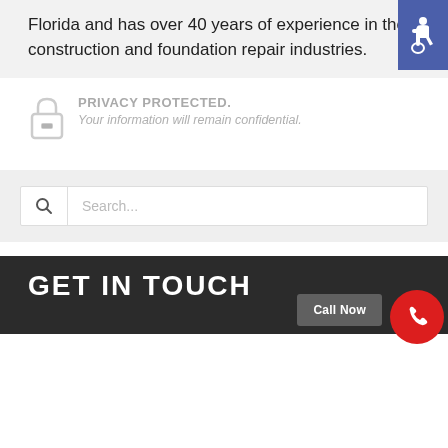Florida and has over 40 years of experience in the construction and foundation repair industries.
PRIVACY PROTECTED. Your information will remain confidential.
[Figure (other): Accessibility icon badge (wheelchair symbol) on blue/purple background, positioned top right]
Search...
GET IN TOUCH
Call Now